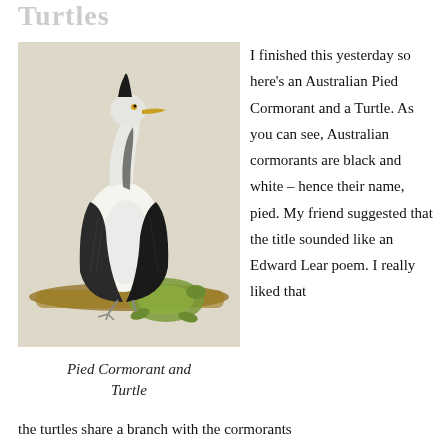Turtles
[Figure (illustration): A pencil/watercolor drawing of an Australian Pied Cormorant (black and white bird) perched on a branch, with a green turtle below it on the same branch. The bird has a yellow beak and distinctive black and white plumage.]
Pied Cormorant and Turtle
I finished this yesterday so here’s an Australian Pied Cormorant and a Turtle. As you can see, Australian cormorants are black and white – hence their name, pied. My friend suggested that the title sounded like an Edward Lear poem. I really liked that the turtles share a branch with the cormorants